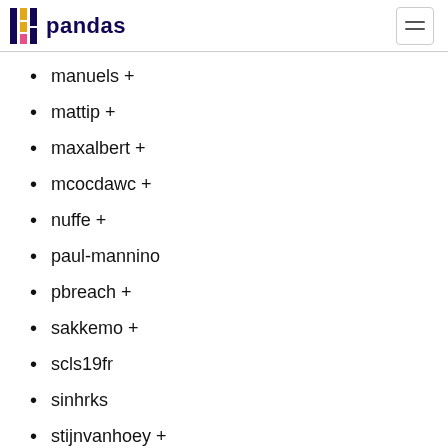pandas
manuels +
mattip +
maxalbert +
mcocdawc +
nuffe +
paul-mannino
pbreach +
sakkemo +
scls19fr
sinhrks
stijnvanhoey +
the-nose-knows +
themrmax +
tomrod +
tzinckgraf
wandersoncferreira